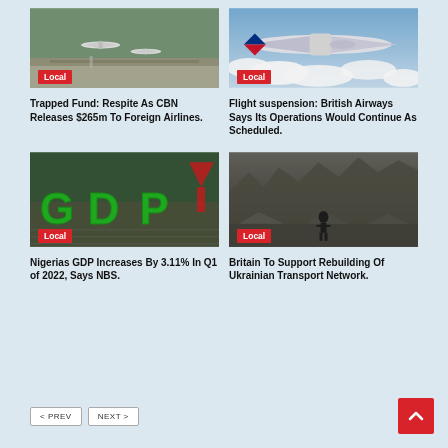[Figure (photo): Aerial view of airport with planes on tarmac, Local badge]
Trapped Fund: Respite As CBN Releases $265m To Foreign Airlines.
[Figure (photo): British Airways plane flying above clouds, Local badge]
Flight suspension: British Airways Says Its Operations Would Continue As Scheduled.
[Figure (photo): GDP green 3D letters with financial charts, Local badge]
Nigerias GDP Increases By 3.11% In Q1 of 2022, Says NBS.
[Figure (photo): Person in rubble/ruins of destroyed building, Local badge]
Britain To Support Rebuilding Of Ukrainian Transport Network.
< PREV
NEXT >